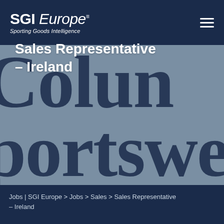SGI Europe™ – Sporting Goods Intelligence
[Figure (illustration): Hero banner image with muted steel-blue background showing partial large serif text 'Colum' and 'portswear C' from Columbia Sportswear brand name in dark navy, serving as background watermark behind the job title overlay.]
Sales Representative – Ireland
Jobs | SGI Europe > Jobs > Sales > Sales Representative – Ireland